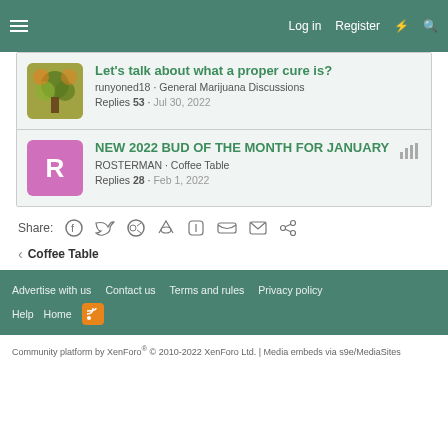Log in  Register
Let's talk about what a proper cure is? — runyoned18 · General Marijuana Discussions — Replies 53 · Jul 30, 2022
NEW 2022 BUD OF THE MONTH FOR JANUARY — ROSTERMAN · Coffee Table — Replies 28 · Feb 1, 2022
Share:
< Coffee Table
Advertise with us  Contact us  Terms and rules  Privacy policy  Help  Home
Community platform by XenForo® © 2010-2022 XenForo Ltd. | Media embeds via s9e/MediaSites